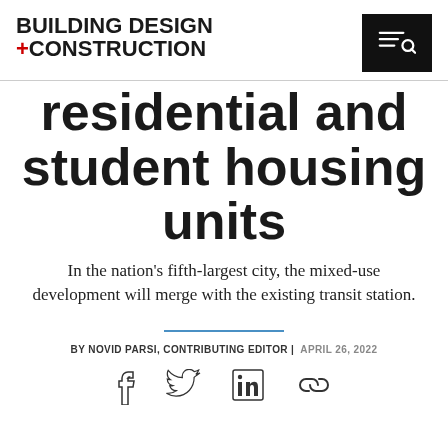BUILDING DESIGN +CONSTRUCTION
residential and student housing units
In the nation's fifth-largest city, the mixed-use development will merge with the existing transit station.
BY NOVID PARSI, CONTRIBUTING EDITOR | APRIL 26, 2022
[Figure (other): Social media share icons: Facebook, Twitter, LinkedIn, Link]